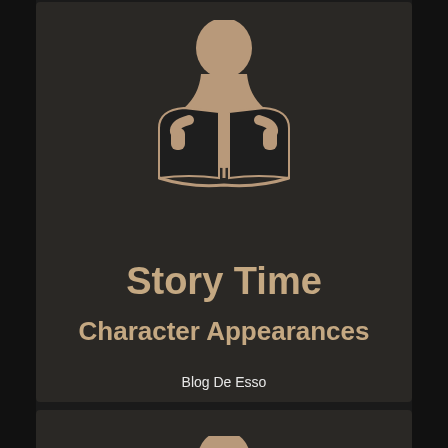[Figure (illustration): Icon of a person reading an open book, shown from front view. The figure has a round head above torso, holding an open book. Rendered in tan/beige color on dark background. Appears twice on the page — full version in top card, partial version in bottom card.]
Story Time
Character Appearances
Blog De Esso